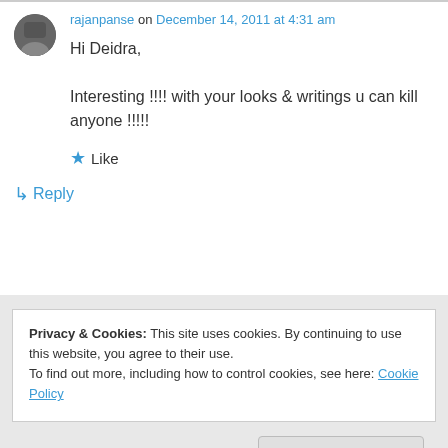rajanpanse on December 14, 2011 at 4:31 am
Hi Deidra,

Interesting !!!! with your looks & writings u can kill anyone !!!!!
Like
Reply
Privacy & Cookies: This site uses cookies. By continuing to use this website, you agree to their use.
To find out more, including how to control cookies, see here: Cookie Policy
Close and accept
Like